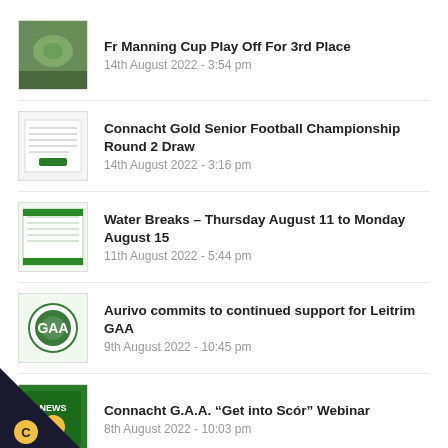Fr Manning Cup Play Off For 3rd Place
14th August 2022 - 3:54 pm
Connacht Gold Senior Football Championship Round 2 Draw
14th August 2022 - 3:16 pm
Water Breaks – Thursday August 11 to Monday August 15
11th August 2022 - 5:44 pm
Aurivo commits to continued support for Leitrim GAA
9th August 2022 - 10:45 pm
Connacht G.A.A. "Get into Scór" Webinar
8th August 2022 - 10:03 pm
NEWS CATEGORIES
Archive (21)
Cairde Liatroma (4)
Club Cairde (6)
a Development (24)